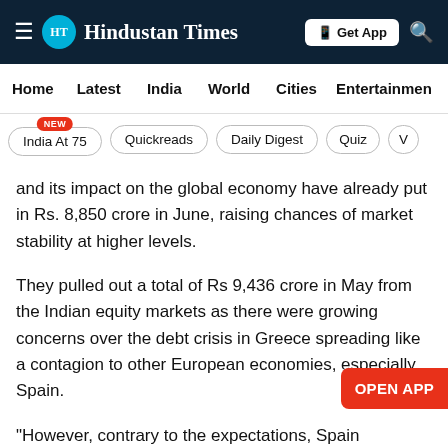HT Hindustan Times — Get App
Home  Latest  India  World  Cities  Entertainment
India At 75 (NEW)  Quickreads  Daily Digest  Quiz  V
and its impact on the global economy have already put in Rs. 8,850 crore in June, raising chances of market stability at higher levels.
They pulled out a total of Rs 9,436 crore in May from the Indian equity markets as there were growing concerns over the debt crisis in Greece spreading like a contagion to other European economies, especially Spain.
“However, contrary to the expectations, Spain managed to raise $4.3 billion worth [Close Story] , suggesting that confidence is coming back to Euro Zone area,” said Sanjay Sinha, CEO of L&T Mutual Fund.
“Also, crude prices strengthened against expectations that